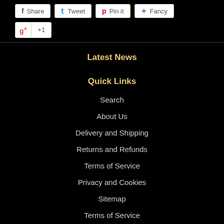[Figure (screenshot): Social share buttons: Share (Facebook), Tweet (Twitter), Pin it (Pinterest), Fancy, and Google +1 button]
Latest News
Quick Links
Search
About Us
Delivery and Shipping
Returns and Refunds
Terms of Service
Privacy and Cookies
Sitemap
Terms of Service